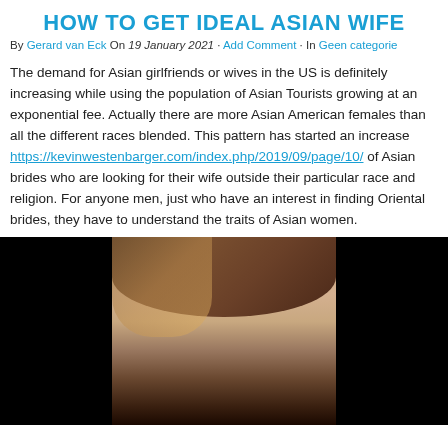HOW TO GET IDEAL ASIAN WIFE
By Gerard van Eck On 19 January 2021 · Add Comment · In Geen categorie
The demand for Asian girlfriends or wives in the US is definitely increasing while using the population of Asian Tourists growing at an exponential fee. Actually there are more Asian American females than all the different races blended. This pattern has started an increase https://kevinwestenbarger.com/index.php/2019/09/page/10/ of Asian brides who are looking for their wife outside their particular race and religion. For anyone men, just who have an interest in finding Oriental brides, they have to understand the traits of Asian women.
[Figure (photo): A blurred close-up photo of a woman's face, with dark hair, set against a dark background with black bars on both sides.]